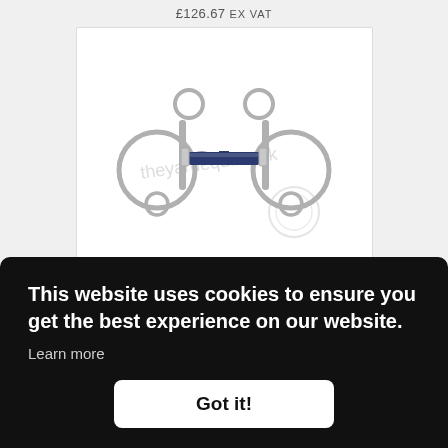£126.67 EX VAT
[Figure (photo): A horse bit with a navy blue central mouthpiece and silver metallic rings on each side, displayed on white background with watermark 'theyardequine.uk']
This website uses cookies to ensure you get the best experience on our website. Learn more
Got it!